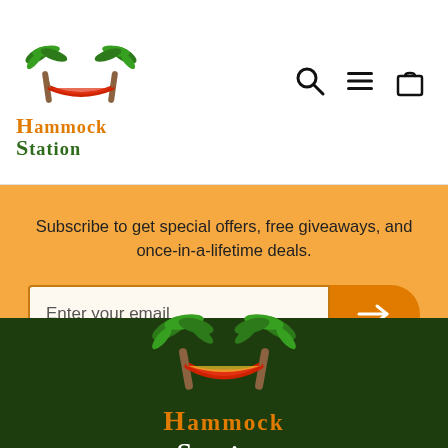[Figure (logo): Hammock Station logo with two palm trees and a red-orange hammock between them, with text 'Hammock' in orange and 'Station' in green]
[Figure (illustration): Navigation icons: search (magnifying glass), hamburger menu (three lines), shopping bag]
Subscribe to get special offers, free giveaways, and once-in-a-lifetime deals.
[Figure (other): Email input field with placeholder 'Enter your email' and orange arrow button]
[Figure (logo): Large Hammock Station logo on dark green background with palm trees and hammock illustration, 'Hammock' in orange and 'Station' in white]